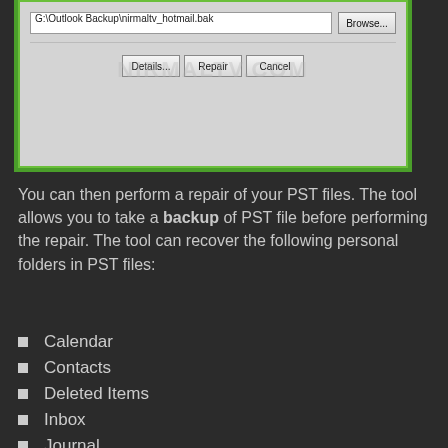[Figure (screenshot): Windows dialog box showing Outlook PST repair tool with file path 'G:\Outlook Backup\nirmaltv_hotmail.bak', Browse button, Details, Repair, and Cancel buttons. A watermark 'NIRMALTV.COM' is overlaid. The dialog has a green border.]
You can then perform a repair of your PST files. The tool allows you to take a backup of PST file before performing the repair. The tool can recover the following personal folders in PST files:
Calendar
Contacts
Deleted Items
Inbox
Journal
Notes
Outbox